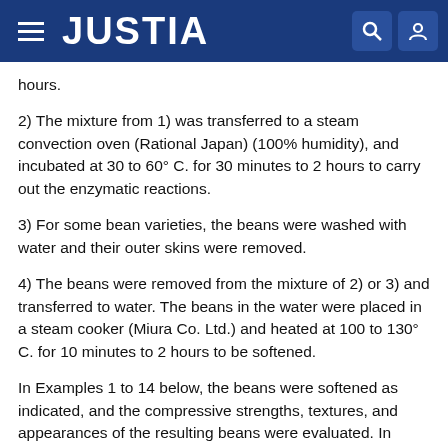JUSTIA
hours.
2) The mixture from 1) was transferred to a steam convection oven (Rational Japan) (100% humidity), and incubated at 30 to 60° C. for 30 minutes to 2 hours to carry out the enzymatic reactions.
3) For some bean varieties, the beans were washed with water and their outer skins were removed.
4) The beans were removed from the mixture of 2) or 3) and transferred to water. The beans in the water were placed in a steam cooker (Miura Co. Ltd.) and heated at 100 to 130° C. for 10 minutes to 2 hours to be softened.
In Examples 1 to 14 below, the beans were softened as indicated, and the compressive strengths, textures, and appearances of the resulting beans were evaluated. In